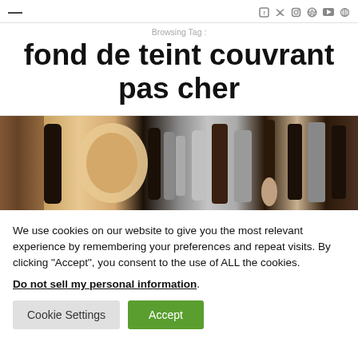≡  [social icons: f, Twitter, Instagram, Pinterest, YouTube, RSS]
Browsing Tag :
fond de teint couvrant pas cher
[Figure (photo): Flat lay of makeup products including foundation bottles, brushes, and cosmetic tubes on a wooden surface]
We use cookies on our website to give you the most relevant experience by remembering your preferences and repeat visits. By clicking "Accept", you consent to the use of ALL the cookies.
Do not sell my personal information.
Cookie Settings  Accept